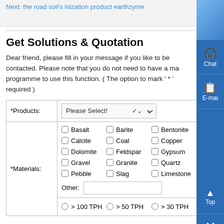Next: the road soil's lnization product earthzyme
Get Solutions & Quotation
Dear friend, please fill in your message if you like to be contacted. Please note that you do not need to have a mail programme to use this function. ( The option to mark ' * ' required )
| *Products: | *Materials: | Other: |  |
| --- | --- | --- | --- |
| Please Select! |  |  |  |
| Basalt | Barite | Bentonite |  |
| Calcite | Coal | Copper |  |
| Dolomite | Feldspar | Gypsum |  |
| Gravel | Granite | Quartz |  |
| Pebble | Slag | Limestone |  |
| Other: [input] |  |  |  |
| > 100 TPH | > 50 TPH | > 30 TPH |  |